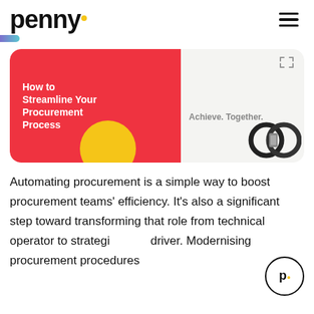penny. [logo] [hamburger menu]
[Figure (illustration): Progress/reading indicator pill shape, gradient from purple to teal, left edge of page]
[Figure (illustration): Banner image split into two halves. Left half: red background with white bold text 'How to Streamline Your Procurement Process' and yellow circle accent. Right half: light grey background with 'Achieve. Together.' tagline in grey, expand icon, and metallic rings/glasses photo at bottom.]
Automating procurement is a simple way to boost procurement teams' efficiency. It's also a significant step toward transforming that role from technical operator to strategic driver. Modernising procurement procedures